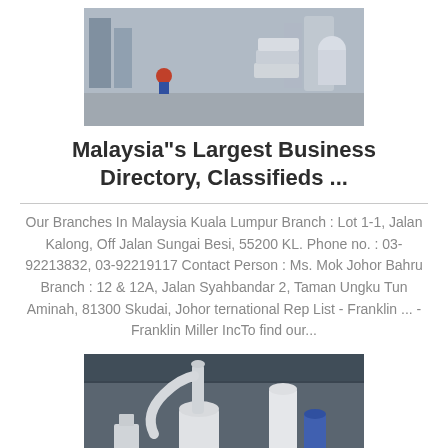[Figure (photo): Industrial facility interior showing workers and equipment, bags of material stacked, machinery visible]
Malaysia"s Largest Business Directory, Classifieds ...
Our Branches In Malaysia Kuala Lumpur Branch : Lot 1-1, Jalan Kalong, Off Jalan Sungai Besi, 55200 KL. Phone no. : 03-92213832, 03-92219117 Contact Person : Ms. Mok Johor Bahru Branch : 12 & 12A, Jalan Syahbandar 2, Taman Ungku Tun Aminah, 81300 Skudai, Johor ternational Rep List - Franklin ... - Franklin Miller IncTo find our...
[Figure (photo): Industrial milling or grinding machinery in a large open factory/warehouse with white equipment and piping]